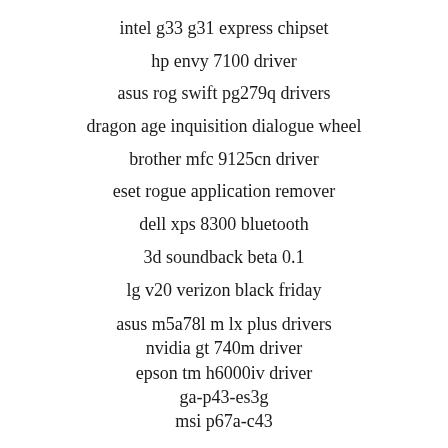intel g33 g31 express chipset
hp envy 7100 driver
asus rog swift pg279q drivers
dragon age inquisition dialogue wheel
brother mfc 9125cn driver
eset rogue application remover
dell xps 8300 bluetooth
3d soundback beta 0.1
lg v20 verizon black friday
asus m5a78l m lx plus drivers
nvidia gt 740m driver
epson tm h6000iv driver
ga-p43-es3g
msi p67a-c43
https://mixpresent.ru/intel-centrino-advanced-n-wimax-6250-driver-intel/